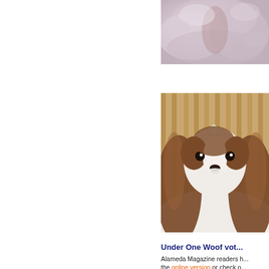[Figure (photo): Close-up photo of a fluffy light gray/white dog, showing mostly fur and partial body — appears to be a small fluffy breed like a poodle or bichon]
[Figure (photo): Photo of a Shih Tzu dog with long brown and white hair, wearing a small white flower accessory on its head, sitting in front of wooden slats]
Under One Woof vot...
Alameda Magazine readers h... the online version or check o...